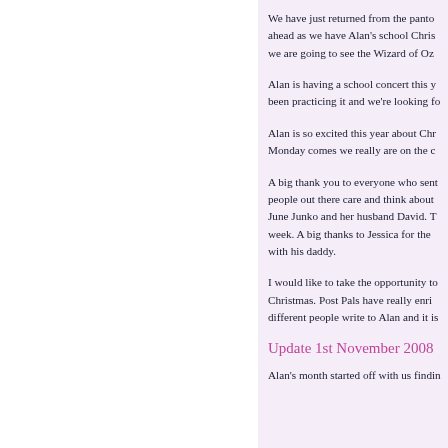We have just returned from the panto ahead as we have Alan's school Chri... we are going to see the Wizard of Oz...
Alan is having a school concert this y... been practicing it and we're looking fo...
Alan is so excited this year about Chr... Monday comes we really are on the c...
A big thank you to everyone who sent... people out there care and think about... June Junko and her husband David. T... week. A big thanks to Jessica for the... with his daddy.
I would like to take the opportunity to... Christmas. Post Pals have really enri... different people write to Alan and it is...
Update 1st November 2008
Alan's month started off with us findin...